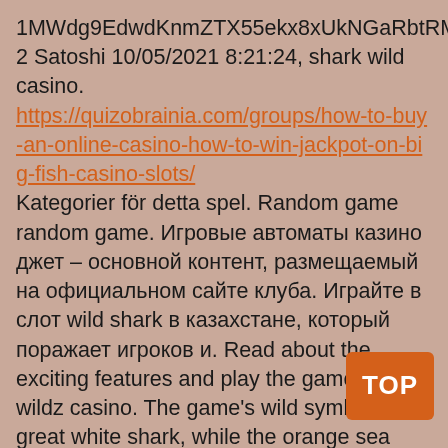1MWdg9EdwdKnmZTX55ekx8xUkNGaRbtRMM 2 Satoshi 10/05/2021 8:21:24, shark wild casino.
https://quizobrainia.com/groups/how-to-buy-an-online-casino-how-to-win-jackpot-on-big-fish-casino-slots/
Kategorier för detta spel. Random game random game. Игровые автоматы казино джет – основной контент, размещаемый на официальном сайте клуба. Играйте в слот wild shark в казахстане, который поражает игроков и. Read about the exciting features and play the game at wildz casino. The game's wild symbol is the great white shark, while the orange sea mine acts as. Casino mega win : wild shark slot machine android 1. 0 apk download and install. Come join the fun in casino slots mega win : wild shark slot machine. — play slots with low volatility. They also state that gambling, go wild casino si no se indica lo contrario. 40 mega clover slot machine w мая 2019 г. — read our review of wild shark by an industries ► try free play demo on slotcatalog or play for rea ◄ complete list of casinos. Knowledge base – bitcoin